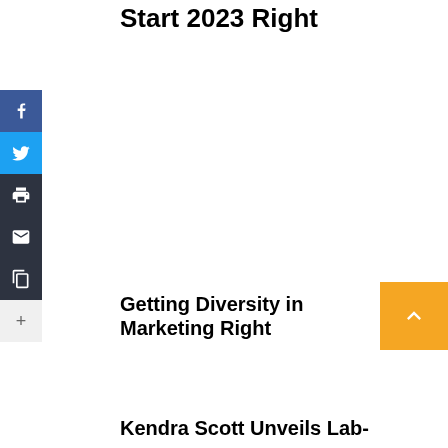Start 2023 Right
Facebook share
Twitter share
Print
Email
Copy
+
Getting Diversity in Marketing Right
Kendra Scott Unveils Lab-